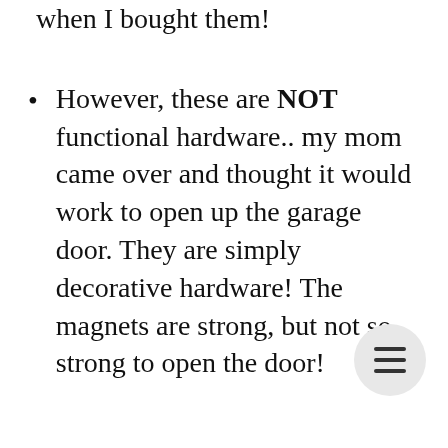when I bought them!
However, these are NOT functional hardware.. my mom came over and thought it would work to open up the garage door.  They are simply decorative hardware!  The magnets are strong, but not so strong to open the door!
You can reposition them as you need.  They can move around and place